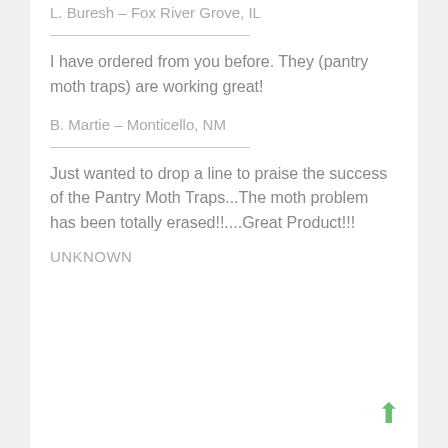L. Buresh – Fox River Grove, IL
I have ordered from you before. They (pantry moth traps) are working great!
B. Martie – Monticello, NM
Just wanted to drop a line to praise the success of the Pantry Moth Traps...The moth problem has been totally erased!!....Great Product!!!
UNKNOWN